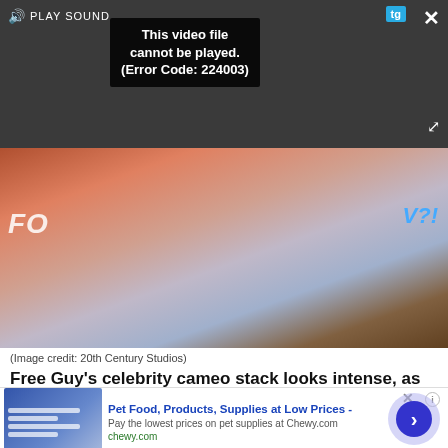[Figure (screenshot): Video player showing error message 'This video file cannot be played. (Error Code: 224003)' with PLAY SOUND label, tg badge, close button, and expand icon on dark background]
[Figure (photo): Two people walking together outdoors with warm sunset lighting, partial text overlay 'FO' on left and 'V?!' on right in blue stylized font]
(Image credit: 20th Century Studios)
Free Guy's celebrity cameo stack looks intense, as 20th Century Studios' own site lists Hugh Jackman, Dwayne Johnson, Tina Fey and John Krasinski (seen in
[Figure (screenshot): Advertisement banner for Chewy.com: 'Pet Food, Products, Supplies at Low Prices - Pay the lowest prices on pet supplies at Chewy.com' with navigation arrow]